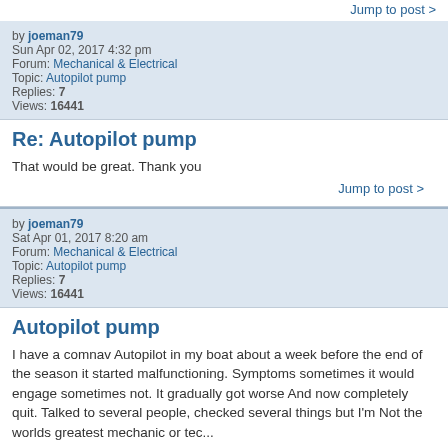Jump to post
by joeman79
Sun Apr 02, 2017 4:32 pm
Forum: Mechanical & Electrical
Topic: Autopilot pump
Replies: 7
Views: 16441
Re: Autopilot pump
That would be great. Thank you
Jump to post
by joeman79
Sat Apr 01, 2017 8:20 am
Forum: Mechanical & Electrical
Topic: Autopilot pump
Replies: 7
Views: 16441
Autopilot pump
I have a comnav Autopilot in my boat about a week before the end of the season it started malfunctioning. Symptoms sometimes it would engage sometimes not. It gradually got worse And now completely quit. Talked to several people, checked several things but I'm Not the worlds greatest mechanic or tec...
Jump to post
by joeman79